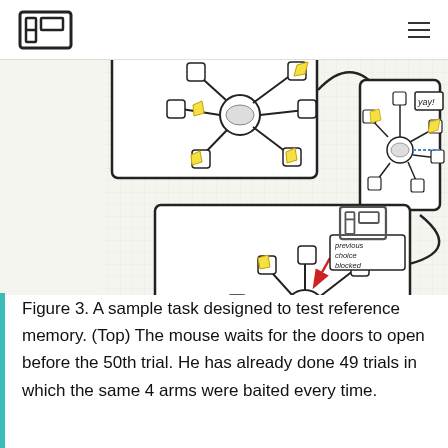[logo] [navigation menu]
[Figure (illustration): Hand-drawn illustration showing a radial maze memory task for mice in three panels. Top left panel shows a mouse at the center of a radial arm maze with arms extending outward, some baited with yellow cheese icons, labeled 'potential choices'. Top right panel shows the same maze with a 'yay!' label and highlighted arm. Bottom panel shows the maze with a red arrow pointing to a blocked arm labeled 'previous choice blocked' and a 'Reference Memory Error' label in red handwriting with a small McDonald's-style logo. A large logo watermark appears lower right.]
Figure 3. A sample task designed to test reference memory. (Top) The mouse waits for the doors to open before the 50th trial. He has already done 49 trials in which the same 4 arms were baited every time.